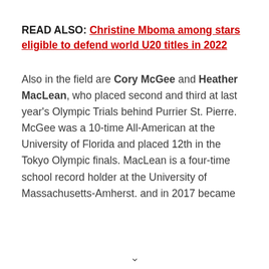READ ALSO: Christine Mboma among stars eligible to defend world U20 titles in 2022
Also in the field are Cory McGee and Heather MacLean, who placed second and third at last year's Olympic Trials behind Purrier St. Pierre. McGee was a 10-time All-American at the University of Florida and placed 12th in the Tokyo Olympic finals. MacLean is a four-time school record holder at the University of Massachusetts-Amherst. and in 2017 became